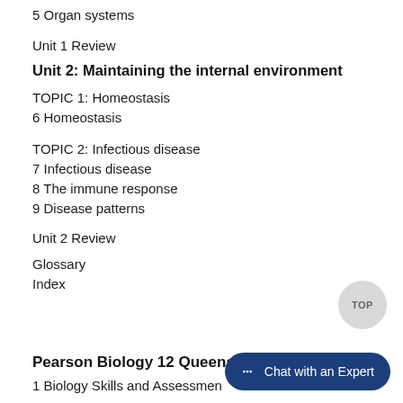5 Organ systems
Unit 1 Review
Unit 2: Maintaining the internal environment
TOPIC 1: Homeostasis
6 Homeostasis
TOPIC 2: Infectious disease
7 Infectious disease
8 The immune response
9 Disease patterns
Unit 2 Review
Glossary
Index
Pearson Biology 12 Queensland Student Book
1 Biology Skills and Assessment